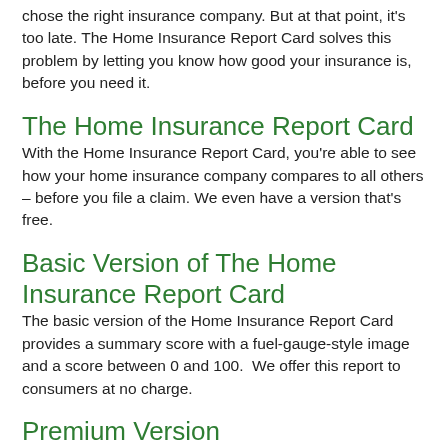chose the right insurance company. But at that point, it's too late. The Home Insurance Report Card solves this problem by letting you know how good your insurance is, before you need it.
The Home Insurance Report Card
With the Home Insurance Report Card, you're able to see how your home insurance company compares to all others – before you file a claim. We even have a version that's free.
Basic Version of The Home Insurance Report Card
The basic version of the Home Insurance Report Card provides a summary score with a fuel-gauge-style image and a score between 0 and 100.  We offer this report to consumers at no charge.
Premium Version